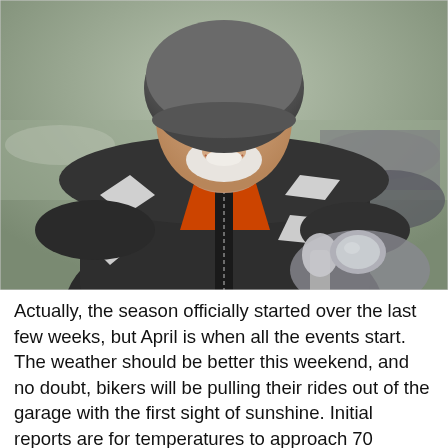[Figure (photo): A middle-aged man wearing a black and grey motorcycle jacket with white stripes, an orange shirt underneath, and a grey helmet with sunglasses. He is smiling broadly and standing next to a motorcycle. The background is blurred and shows other motorcycles and a waterfront area.]
Actually, the season officially started over the last few weeks, but April is when all the events start. The weather should be better this weekend, and no doubt, bikers will be pulling their rides out of the garage with the first sight of sunshine. Initial reports are for temperatures to approach 70